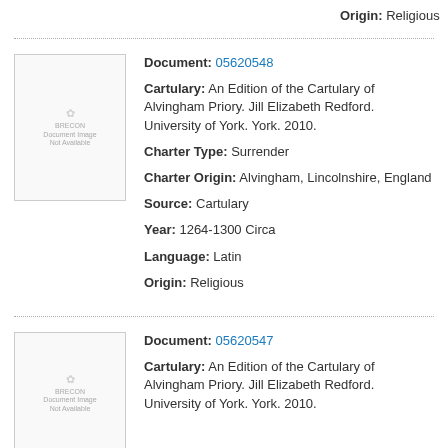Origin: Religious
Document: 05620548
Cartulary: An Edition of the Cartulary of Alvingham Priory. Jill Elizabeth Redford. University of York. York. 2010.
Charter Type: Surrender
Charter Origin: Alvingham, Lincolnshire, England
Source: Cartulary
Year: 1264-1300 Circa
Language: Latin
Origin: Religious
Document: 05620547
Cartulary: An Edition of the Cartulary of Alvingham Priory. Jill Elizabeth Redford. University of York. York. 2010.